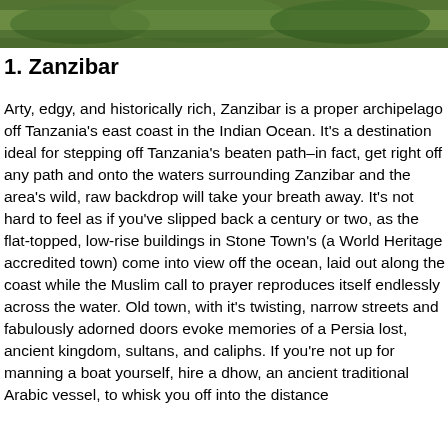[Figure (photo): Landscape photograph of Zanzibar showing coastal scenery with lush green trees and terrain.]
1. Zanzibar
Arty, edgy, and historically rich, Zanzibar is a proper archipelago off Tanzania's east coast in the Indian Ocean. It's a destination ideal for stepping off Tanzania's beaten path–in fact, get right off any path and onto the waters surrounding Zanzibar and the area's wild, raw backdrop will take your breath away. It's not hard to feel as if you've slipped back a century or two, as the flat-topped, low-rise buildings in Stone Town's (a World Heritage accredited town) come into view off the ocean, laid out along the coast while the Muslim call to prayer reproduces itself endlessly across the water. Old town, with it's twisting, narrow streets and fabulously adorned doors evoke memories of a Persia lost, ancient kingdom, sultans, and caliphs. If you're not up for manning a boat yourself, hire a dhow, an ancient traditional Arabic vessel, to whisk you off into the distance